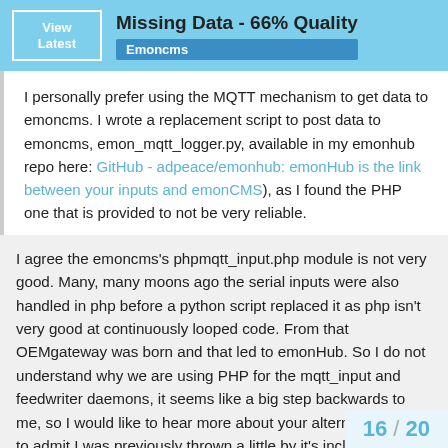Missing Data - 66% Quality | Emoncms
I personally prefer using the MQTT mechanism to get data to emoncms. I wrote a replacement script to post data to emoncms, emon_mqtt_logger.py, available in my emonhub repo here: GitHub - adpeace/emonhub: emonHub is the link between your inputs and emonCMS), as I found the PHP one that is provided to not be very reliable.
I agree the emoncms's phpmqtt_input.php module is not very good. Many, many moons ago the serial inputs were also handled in php before a python script replaced it as php isn't very good at continuously looped code. From that OEMgateway was born and that led to emonHub. So I do not understand why we are using PHP for the mqtt_input and feedwriter daemons, it seems like a big step backwards to me, so I would like to hear more about your alternative, I have to admit I was previously thrown a little by it's inclusion in emonhub not emoncms, suggesting it was an alternative route out of emonhub rather than an alternative route into emoncms.
16 / 20